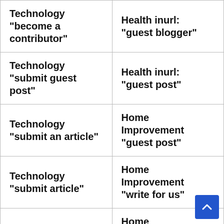| Technology “become a contributor” | Health inurl: “guest blogger” |
| Technology “submit guest post” | Health inurl: “guest post” |
| Technology “submit an article” | Home Improvement “guest post” |
| Technology “submit article” | Home Improvement “write for us” |
| Technology “guest author” | Home Improvement “guest article” |